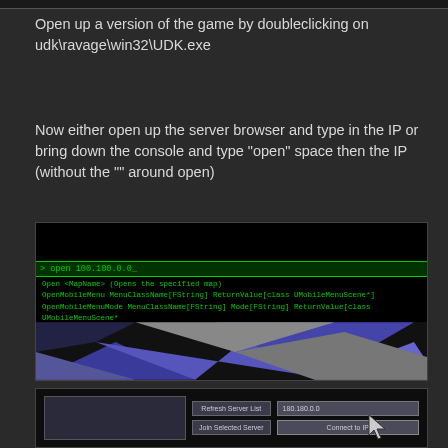Open up a version of the game by doubleclicking on udk\ravage\win32\UDK.exe
Now either open up the server browser and type in the IP or bring down the console and type “open” space then the IP (without the “” around open)
[Figure (screenshot): Game console screenshot showing 'open 100.100.0.0_' typed in the console input with autocomplete suggestions including OpenMap, OpenMobileMenu, open 127.0.0.1, overlaid on the game's geometric blue/grey level background]
[Figure (screenshot): Server browser UI showing a server list box, Refresh Server List and Join Selected Server buttons, an IP input field showing 180.180.0.0, a Connect to IP button, and a mouse cursor arrow]